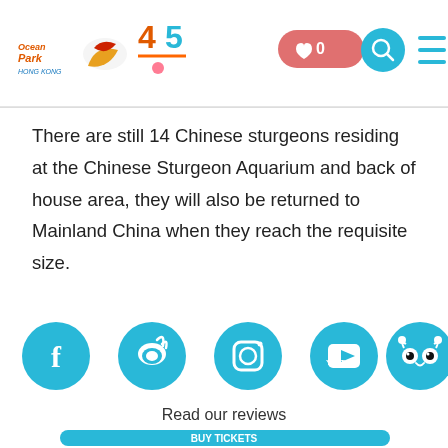Ocean Park 45th Anniversary logo with wishlist, search, and menu icons
There are still 14 Chinese sturgeons residing at the Chinese Sturgeon Aquarium and back of house area, they will also be returned to Mainland China when they reach the requisite size.
[Figure (illustration): Row of five teal social media icon circles: Facebook, Weibo, Instagram, YouTube, TripAdvisor]
Read our reviews
[Figure (illustration): Toucan bird illustration with BUY TICKETS button and Connect people with nature tagline]